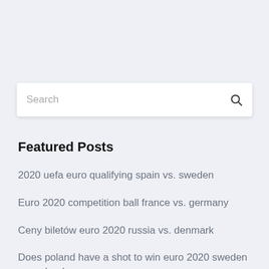[Figure (screenshot): Search bar with placeholder text 'Search' and a search icon on the right]
Featured Posts
2020 uefa euro qualifying spain vs. sweden
Euro 2020 competition ball france vs. germany
Ceny biletów euro 2020 russia vs. denmark
Does poland have a shot to win euro 2020 sweden vs. poland